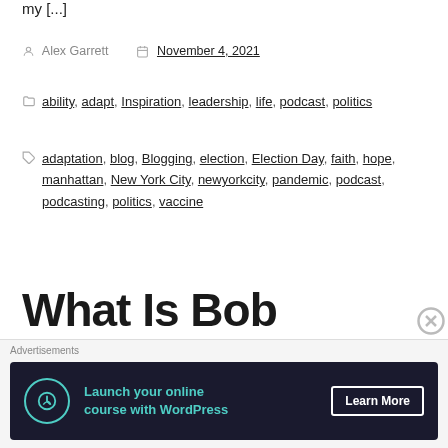my [...]
Alex Garrett   November 4, 2021
ability, adapt, Inspiration, leadership, life, podcast, politics
adaptation, blog, Blogging, election, Election Day, faith, hope, manhattan, New York City, newyorkcity, pandemic, podcast, podcasting, politics, vaccine
What Is Bob Broadly Du...
Advertisements
Launch your online course with WordPress   Learn More